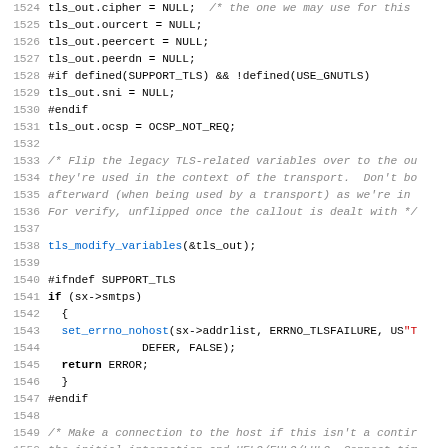Source code listing lines 1524-1555, showing C code for TLS connection setup including variable initialization, conditional compilation directives, function calls, and connection logic.